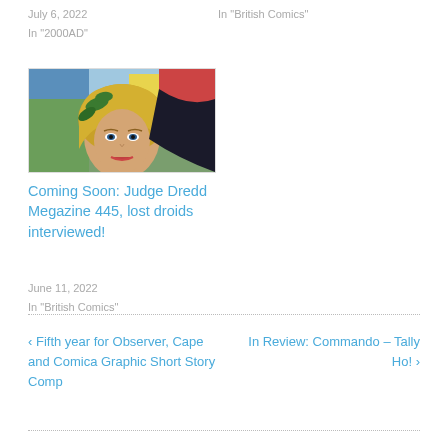July 6, 2022
In "2000AD"
In "British Comics"
[Figure (photo): Comic book art showing a blonde female character with a determined expression, colorful background]
Coming Soon: Judge Dredd Megazine 445, lost droids interviewed!
June 11, 2022
In "British Comics"
‹ Fifth year for Observer, Cape and Comica Graphic Short Story Comp
In Review: Commando – Tally Ho! ›